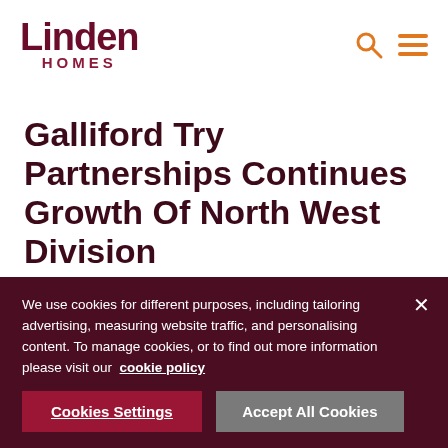[Figure (logo): Linden Homes logo with 'Linden' in large dark maroon bold text and 'HOMES' beneath in smaller spaced maroon capitals]
Galliford Try Partnerships Continues Growth Of North West Division
09 Jan 2017
We use cookies for different purposes, including tailoring advertising, measuring website traffic, and personalising content. To manage cookies, or to find out more information please visit our  cookie policy
Cookies Settings
Accept All Cookies